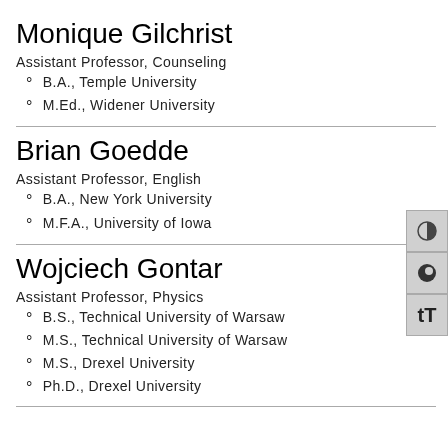Monique Gilchrist
Assistant Professor, Counseling
B.A., Temple University
M.Ed., Widener University
Brian Goedde
Assistant Professor, English
B.A., New York University
M.F.A., University of Iowa
Wojciech Gontar
Assistant Professor, Physics
B.S., Technical University of Warsaw
M.S., Technical University of Warsaw
M.S., Drexel University
Ph.D., Drexel University